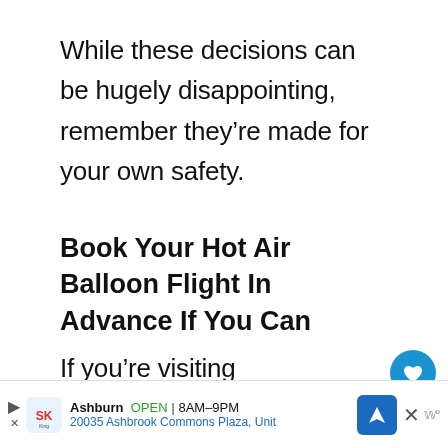While these decisions can be hugely disappointing, remember they’re made for your own safety.
Book Your Hot Air Balloon Flight In Advance If You Can
If you’re visiting Cappadocia in high season, be sure to book your balloon flight well in advance. While